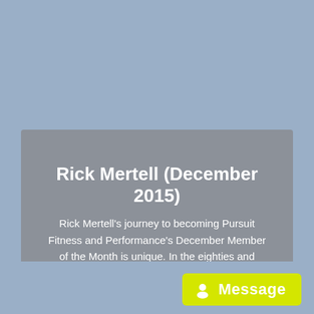Rick Mertell (December 2015)
Rick Mertell's journey to becoming Pursuit Fitness and Performance's December Member of the Month is unique. In the eighties and nineties, Rick worked as a professional trainer and body builder. But in recent decades, he'd let his weight and health go. Consumed with the stress of building and juggling his own financial planning business, and [...]
[Figure (screenshot): Yellow Message button with white person/alien icon]